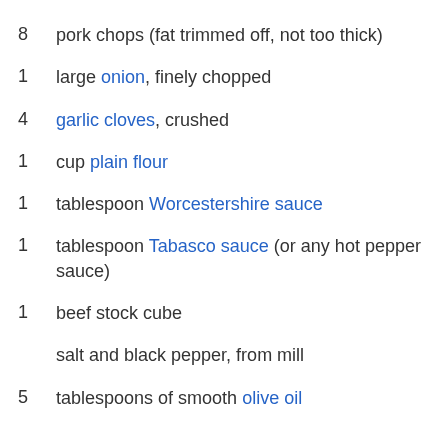8 pork chops (fat trimmed off, not too thick)
1 large onion, finely chopped
4 garlic cloves, crushed
1 cup plain flour
1 tablespoon Worcestershire sauce
1 tablespoon Tabasco sauce (or any hot pepper sauce)
1 beef stock cube
salt and black pepper, from mill
5 tablespoons of smooth olive oil